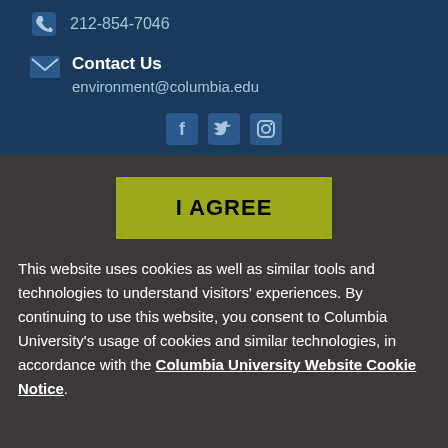212-854-7046
Contact Us
environment@columbia.edu
[Figure (other): Social media icons (Facebook, Twitter, and one more) in light blue on dark navy background]
I AGREE
This website uses cookies as well as similar tools and technologies to understand visitors' experiences. By continuing to use this website, you consent to Columbia University's usage of cookies and similar technologies, in accordance with the Columbia University Website Cookie Notice.